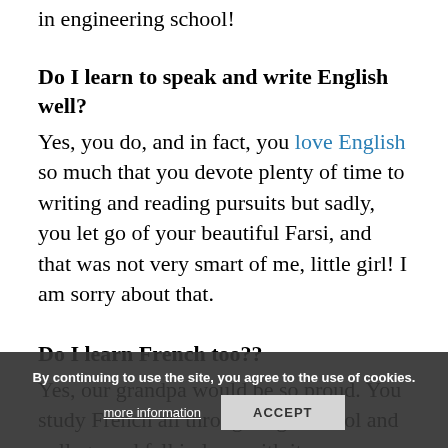in engineering school!
Do I learn to speak and write English well?
Yes, you do, and in fact, you love English so much that you devote plenty of time to writing and reading pursuits but sadly, you let go of your beautiful Farsi, and that was not very smart of me, little girl! I am sorry about that.
Do I learn French too??
Yes, our grandpa would be so proud. You study French all through high school and college and fall in love with it even more than when you fell in love with English.
By continuing to use the site, you agree to the use of cookies. more information ACCEPT